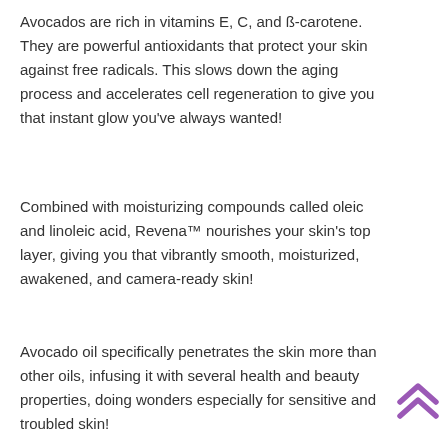Avocados are rich in vitamins E, C, and ß-carotene. They are powerful antioxidants that protect your skin against free radicals. This slows down the aging process and accelerates cell regeneration to give you that instant glow you've always wanted!
Combined with moisturizing compounds called oleic and linoleic acid, Revena™ nourishes your skin's top layer, giving you that vibrantly smooth, moisturized, awakened, and camera-ready skin!
Avocado oil specifically penetrates the skin more than other oils, infusing it with several health and beauty properties, doing wonders especially for sensitive and troubled skin!
[Figure (illustration): Purple double chevron / arrow pointing upward, decorative scroll-to-top icon in the bottom right corner]